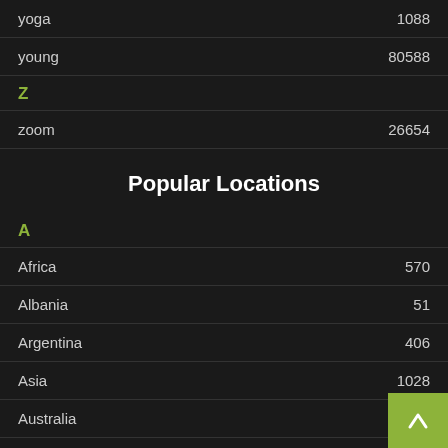yoga  1088
young  80588
Z
zoom  26654
Popular Locations
A
Africa  570
Albania  51
Argentina  406
Asia  1028
Australia  763
Austria  233
B
Belarus